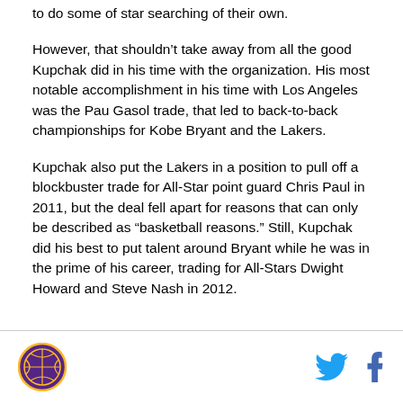to do some of star searching of their own.
However, that shouldn’t take away from all the good Kupchak did in his time with the organization. His most notable accomplishment in his time with Los Angeles was the Pau Gasol trade, that led to back-to-back championships for Kobe Bryant and the Lakers.
Kupchak also put the Lakers in a position to pull off a blockbuster trade for All-Star point guard Chris Paul in 2011, but the deal fell apart for reasons that can only be described as “basketball reasons.” Still, Kupchak did his best to put talent around Bryant while he was in the prime of his career, trading for All-Stars Dwight Howard and Steve Nash in 2012.
Lakers logo, Twitter icon, Facebook icon